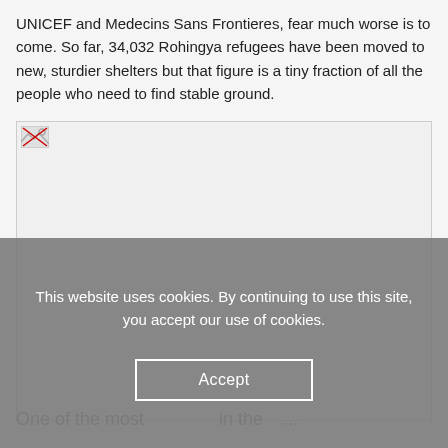UNICEF and Medecins Sans Frontieres, fear much worse is to come. So far, 34,032 Rohingya refugees have been moved to new, sturdier shelters but that figure is a tiny fraction of all the people who need to find stable ground.
[Figure (photo): Broken/unloaded image placeholder with small broken image icon in top-left corner, large gray rectangle representing a photo that failed to load.]
This website uses cookies. By continuing to use this site, you accept our use of cookies.
Accept
One of the most ... in the ...